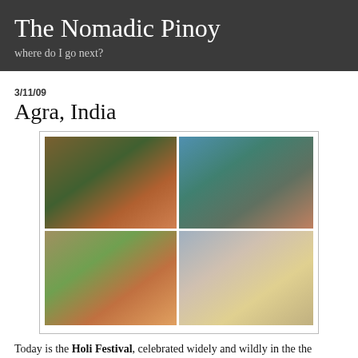The Nomadic Pinoy
where do I go next?
3/11/09
Agra, India
[Figure (photo): A 2x2 grid of four photographs showing people celebrating Holi Festival in Agra, India, with colorful powder on faces and clothes.]
Today is the Holi Festival, celebrated widely and wildly in the the country. India...